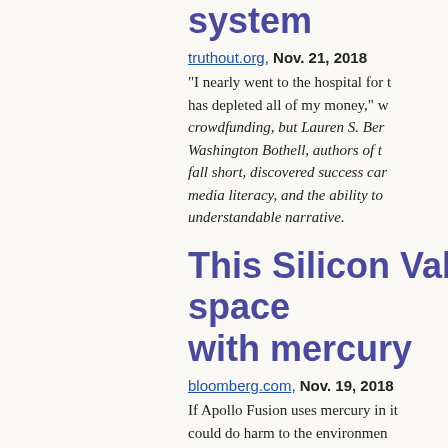system
truthout.org, Nov. 21, 2018
"I nearly went to the hospital for t… has depleted all of my money," w… crowdfunding, but Lauren S. Ber… Washington Bothell, authors of t… fall short, discovered success car… media literacy, and the ability to … understandable narrative.
This Silicon Valley space with mercury
bloomberg.com, Nov. 19, 2018
If Apollo Fusion uses mercury in it… could do harm to the environmen… been working for years to curtail… emergence of a market for merc… environmental chemistry at the U…
This Silicon Valley startu